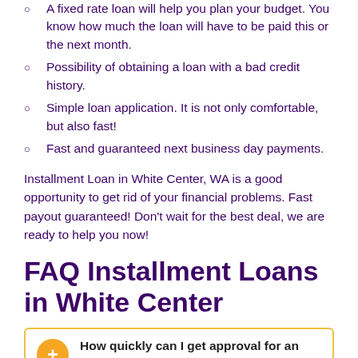A fixed rate loan will help you plan your budget. You know how much the loan will have to be paid this or the next month.
Possibility of obtaining a loan with a bad credit history.
Simple loan application. It is not only comfortable, but also fast!
Fast and guaranteed next business day payments.
Installment Loan in White Center, WA is a good opportunity to get rid of your financial problems. Fast payout guaranteed! Don't wait for the best deal, we are ready to help you now!
FAQ Installment Loans in White Center
How quickly can I get approval for an Installment Loan in White Center, WA?